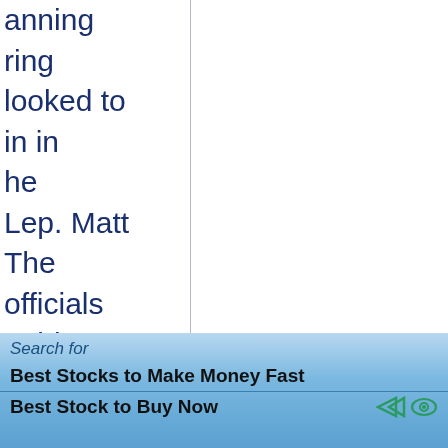anning
ring
looked to
in in
he
Lep. Matt
The
officials
nald Trump

who spoke
were
a pardon,
te House
LL
es about
w YorkErik
detailing
his efforts
[Figure (other): Advertisement bar with blue gradient background. Shows 'Search for' label followed by two bold search suggestions: 'Best Stocks to Make Money Fast' and 'Best Stock to Buy Now' with navigation icons.]